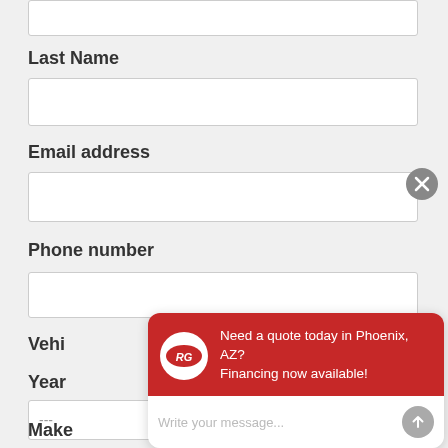Last Name
Email address
Phone number
Vehicle Information
Year
Make
[Figure (screenshot): Chat popup overlay from RG with message 'Need a quote today in Phoenix, AZ? Financing now available!' and a message input field.]